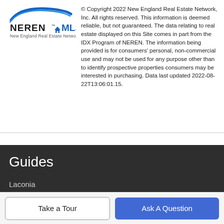[Figure (logo): NEREN MLS – New England Real Estate Network logo with blue swoosh and house icon]
© Copyright 2022 New England Real Estate Network, Inc. All rights reserved. This information is deemed reliable, but not guaranteed. The data relating to real estate displayed on this Site comes in part from the IDX Program of NEREN. The information being provided is for consumers' personal, non-commercial use and may not be used for any purpose other than to identify prospective properties consumers may be interested in purchasing. Data last updated 2022-08-22T13:06:01.15.
Guides
Laconia
Manchester
Gilford
Hookington